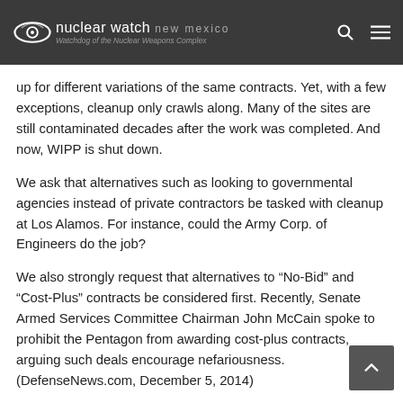nuclear watch new mexico — Watchdog of the Nuclear Weapons Complex
up for different variations of the same contracts. Yet, with a few exceptions, cleanup only crawls along. Many of the sites are still contaminated decades after the work was completed. And now, WIPP is shut down.
We ask that alternatives such as looking to governmental agencies instead of private contractors be tasked with cleanup at Los Alamos. For instance, could the Army Corp. of Engineers do the job?
We also strongly request that alternatives to “No-Bid” and “Cost-Plus” contracts be considered first. Recently, Senate Armed Services Committee Chairman John McCain spoke to prohibit the Pentagon from awarding cost-plus contracts, arguing such deals encourage nefariousness. (DefenseNews.com, December 5, 2014)